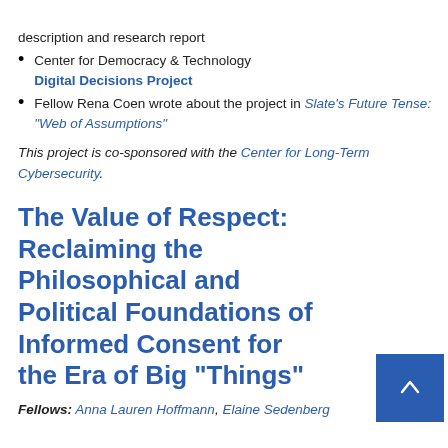description and research report
Center for Democracy & Technology Digital Decisions Project
Fellow Rena Coen wrote about the project in Slate's Future Tense: “Web of Assumptions”
This project is co-sponsored with the Center for Long-Term Cybersecurity.
The Value of Respect: Reclaiming the Philosophical and Political Foundations of Informed Consent for the Era of Big “Things”
Fellows: Anna Lauren Hoffmann, Elaine Sedenberg